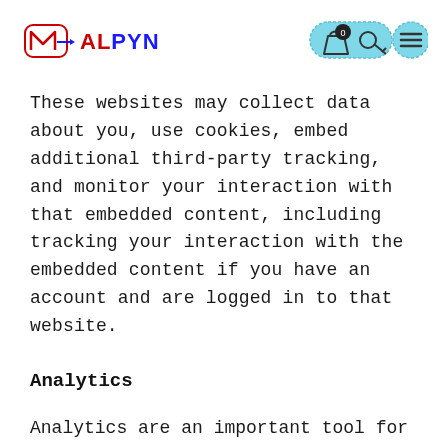[Figure (logo): Malpyn logo with stylized M icon in red/blue and arrow, text MALPYN in red and blue]
[Figure (other): Navigation bar icons: shopping bag with 0 badge and key icon in a teal pill shape, and a hamburger menu icon in a teal circle]
These websites may collect data about you, use cookies, embed additional third-party tracking, and monitor your interaction with that embedded content, including tracking your interaction with the embedded content if you have an account and are logged in to that website.
Analytics
Analytics are an important tool for